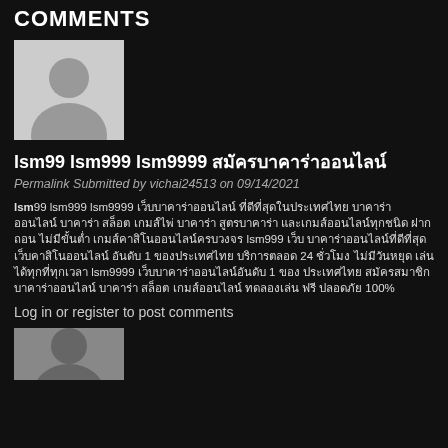COMMENTS
[Figure (illustration): Default user avatar silhouette, gray on white background]
lsm99 lsm999 lsm9999 สมัครบาคาร่าออนไลน์
Permalink Submitted by vichai24513 on 09/14/2021
lsm99 lsm999 lsm9999 เว็บบาคาร่าออนไลน์ ที่ดีที่สุดในประเทศไทย บาคาร่าออนไลน์ บาคาร่า สล็อต เกมส์ไพ่ บาคาร่า สูตรบาคาร่า และเกมส์ออนไลน์ทุกชนิด ฝาก ถอน ไม่มีขั้นต่ำ เกมส์คาสิโนออนไลน์ครบวงจร lsm999 เว็บ บาคาร่าออนไลน์ที่ดีที่สุด เว็บคาสิโนออนไลน์ อันดับ 1 ของประเทศไทย บริการตลอด 24 ชั่วโมง ไม่มีวันหยุด เล่นได้ทุกที่ทุกเวลา lsm9999 เว็บบาคาร่าออนไลน์อันดับ 1 ของ ประเทศไทย สมัครสมาชิก บาคาร่าออนไลน์ บาคาร่า สล็อต เกมส์ออนไลน์ ทดลองเล่น ฟรี ปลอดภัย 100%
Log in or register to post comments
[Figure (illustration): Partial default user avatar silhouette at bottom]